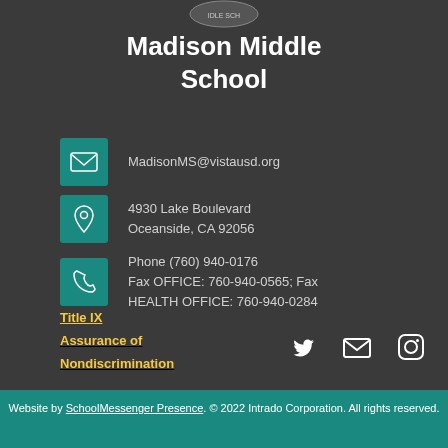[Figure (logo): Madison Middle School circular logo at top]
Madison Middle School
MadisonMS@vistausd.org
4930 Lake Boulevard
Oceanside, CA 92056
Phone (760) 940-0176
Fax OFFICE: 760-940-0565; Fax HEALTH OFFICE: 760-940-0284
Title IX
Assurance of Nondiscrimination
[Figure (illustration): Social media icons: Twitter bird, envelope, Instagram]
Website by SchoolMessenger Presence. © 2022 Intrado Corporation. All rights reserved.